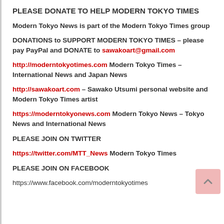PLEASE DONATE TO HELP MODERN TOKYO TIMES
Modern Tokyo News is part of the Modern Tokyo Times group
DONATIONS to SUPPORT MODERN TOKYO TIMES – please pay PayPal and DONATE to sawakoart@gmail.com
http://moderntokyotimes.com Modern Tokyo Times – International News and Japan News
http://sawakoart.com – Sawako Utsumi personal website and Modern Tokyo Times artist
https://moderntokyonews.com Modern Tokyo News – Tokyo News and International News
PLEASE JOIN ON TWITTER
https://twitter.com/MTT_News Modern Tokyo Times
PLEASE JOIN ON FACEBOOK
https://www.facebook.com/moderntokyotimes